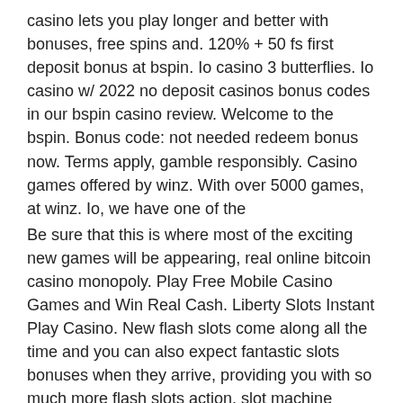casino lets you play longer and better with bonuses, free spins and. 120% + 50 fs first deposit bonus at bspin. Io casino 3 butterflies. Io casino w/ 2022 no deposit casinos bonus codes in our bspin casino review. Welcome to the bspin. Bonus code: not needed redeem bonus now. Terms apply, gamble responsibly. Casino games offered by winz. With over 5000 games, at winz. Io, we have one of the
Be sure that this is where most of the exciting new games will be appearing, real online bitcoin casino monopoly. Play Free Mobile Casino Games and Win Real Cash. Liberty Slots Instant Play Casino. New flash slots come along all the time and you can also expect fantastic slots bonuses when they arrive, providing you with so much more flash slots action, slot machine sillustrate schedules. By continuing to use this website you agree to our terms and conditions and